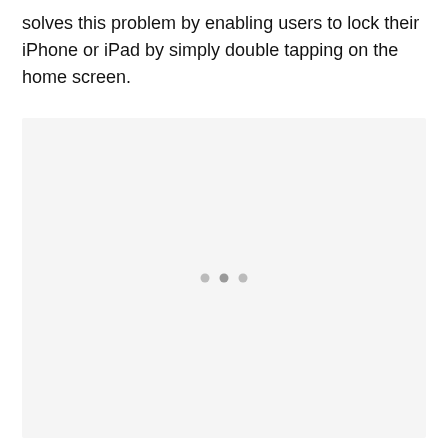solves this problem by enabling users to lock their iPhone or iPad by simply double tapping on the home screen.
[Figure (screenshot): A light gray placeholder image area with three small dots (pagination indicators) centered within it.]